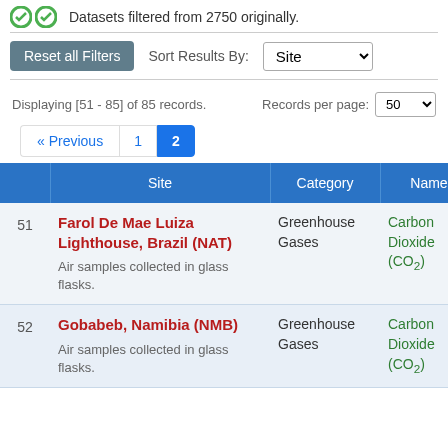Datasets filtered from 2750 originally.
Reset all Filters   Sort Results By: Site
Displaying [51 - 85] of 85 records.   Records per page: 50
« Previous  1  2
|  | Site | Category | Name |  |
| --- | --- | --- | --- | --- |
| 51 | Farol De Mae Luiza Lighthouse, Brazil (NAT)
Air samples collected in glass flasks. | Greenhouse Gases | Carbon Dioxide (CO2) |  |
| 52 | Gobabeb, Namibia (NMB)
Air samples collected in glass flasks. | Greenhouse Gases | Carbon Dioxide (CO2) |  |